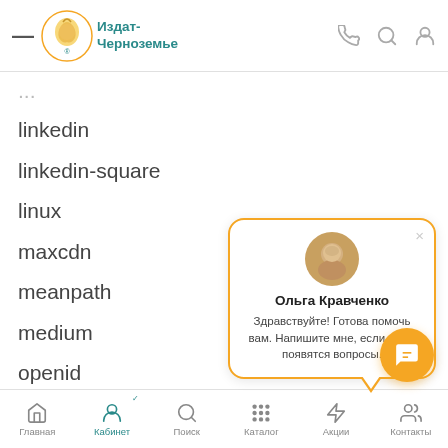Издат-Черноземье
linkedin
linkedin-square
linux
maxcdn
meanpath
medium
openid
pagelines
paypal
pied-piper
pied-piper-alt
pinterest
pinterest-p
[Figure (screenshot): Chat popup with Ольга Кравченко avatar and greeting message: Здравствуйте! Готова помочь вам. Напишите мне, если у вас появятся вопросы.]
Главная | Кабинет | Поиск | Каталог | Акции | Контакты